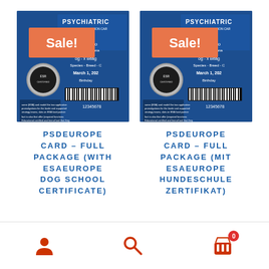[Figure (photo): Product card image: Psychiatric Animal Identification Card with Sale! badge overlay, blue background with ID card details visible]
PSDEUROPE CARD – FULL PACKAGE (WITH ESAEUROPE DOG SCHOOL CERTIFICATE)
[Figure (photo): Product card image: Psychiatric Animal Identification Card with Sale! badge overlay, blue background with ID card details visible]
PSDEUROPE CARD – FULL PACKAGE (MIT ESAEUROPE HUNDESCHULE ZERTIFIKAT)
User icon | Search icon | Cart icon with badge 0